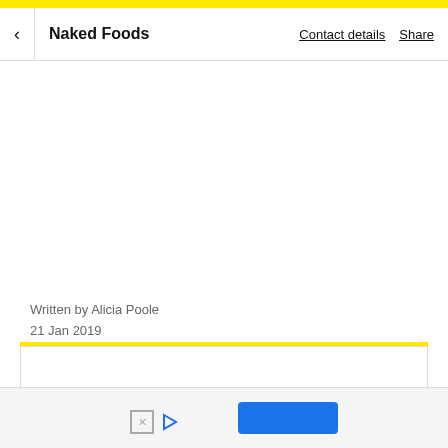< Naked Foods   Contact details   Share
Written by Alicia Poole
21 Jan 2019
[Figure (screenshot): Advertisement banner area with yellow top bar, white content box, and bottom bar containing X and play icons on the left and a blue button on the right]